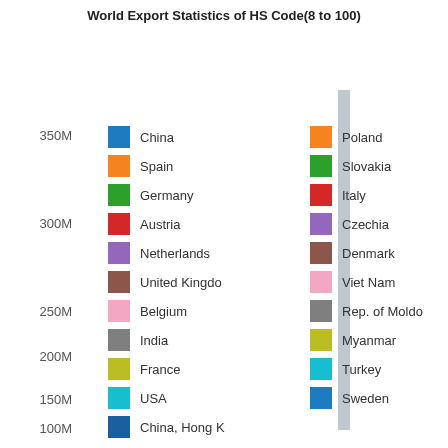World Export Statistics of HS Code(8 to 100)
[Figure (bar-chart): World Export Statistics of HS Code(8 to 100)]